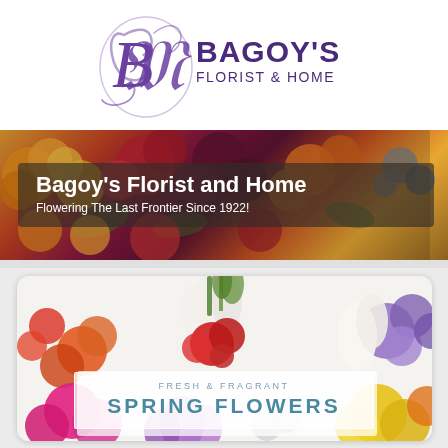[Figure (logo): Bagoy's Florist & Home logo with purple cursive B monogram and serif text]
[Figure (photo): Colorful floral banner background with roses and mixed blooms in orange, red, purple, yellow tones]
Bagoy's Florist and Home
Flowering The Last Frontier Since 1922!
[Figure (photo): Spring flowers card showing white, red, purple, orange, yellow, and pink flowers including freesias and roses with text overlay]
FRESH & FRAGRANT
SPRING FLOWERS